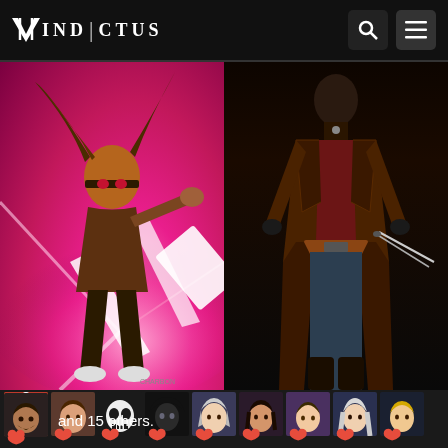VINDICTUS
[Figure (illustration): Split image: left side shows comic book art of a male character with long brown hair, headband, and pink/magenta energy effects reaching forward; right side shows a 3D game character model wearing a long brown trench coat and dark pants holding daggers]
[Figure (photo): Row of user avatar thumbnails with like icons underneath: 9 avatars visible including characters with Christmas hat, skull mask, dark hood, various female characters with short hair]
and 15 others.